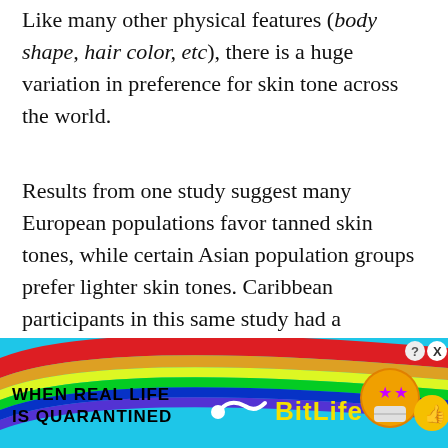Like many other physical features (body shape, hair color, etc), there is a huge variation in preference for skin tone across the world.
Results from one study suggest many European populations favor tanned skin tones, while certain Asian population groups prefer lighter skin tones. Caribbean participants in this same study had a preference for darker skin tones. 1
These results point to a lack of universal cultural standard when it comes to skin tone attractiveness.
[Figure (screenshot): BitLife advertisement banner at the bottom of the page showing rainbow background, text 'WHEN REAL LIFE IS QUARANTINED', BitLife logo, and cartoon emoji characters]